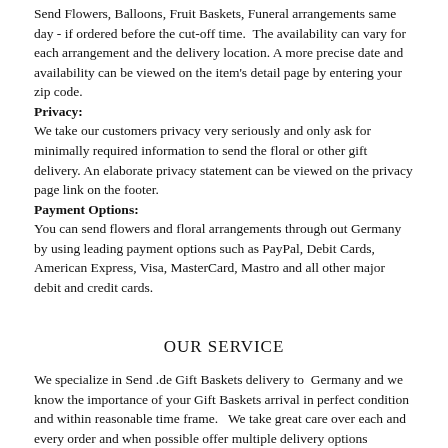Send Flowers, Balloons, Fruit Baskets, Funeral arrangements same day - if ordered before the cut-off time.  The availability can vary for each arrangement and the delivery location. A more precise date and availability can be viewed on the item's detail page by entering your zip code.
Privacy:
We take our customers privacy very seriously and only ask for minimally required information to send the floral or other gift delivery. An elaborate privacy statement can be viewed on the privacy page link on the footer.
Payment Options:
You can send flowers and floral arrangements through out Germany by using leading payment options such as PayPal, Debit Cards, American Express, Visa, MasterCard, Mastro and all other major debit and credit cards.
OUR SERVICE
We specialize in Send .de Gift Baskets delivery to  Germany and we know the importance of your Gift Baskets arrival in perfect condition and within reasonable time frame.   We take great care over each and every order and when possible offer multiple delivery options including same-day delivery.
You may also like :
Send Gift Baskets Berlin Berlin | Send Gift Baskets Stuttgart Baden Württemberg | Send Gift Baskets Karlsruhe Baden Württemberg | Send